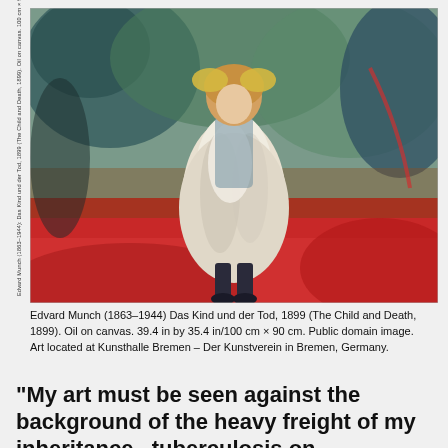[Figure (photo): Edvard Munch painting 'Das Kind und der Tod' (The Child and Death), 1899. Shows a young girl in a white dress standing against an expressionist background of greens and reds.]
Edvard Munch (1863–1944) Das Kind und der Tod, 1899 (The Child and Death, 1899). Oil on canvas. 39.4 in by 35.4 in/100 cm × 90 cm. Public domain image. Art located at Kunsthalle Bremen – Der Kunstverein in Bremen, Germany.
“My art must be seen against the background of the heavy freight of my inheritance,–tuberculosis on